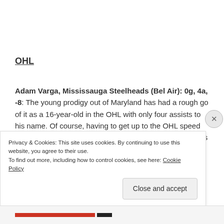OHL
Adam Varga, Mississauga Steelheads (Bel Air): 0g, 4a, -8: The young prodigy out of Maryland has had a rough go of it as a 16-year-old in the OHL with only four assists to his name. Of course, having to get up to the OHL speed from the Mid-Atlantic U16 is going to take time, but he has the ability to be an impact player so
Privacy & Cookies: This site uses cookies. By continuing to use this website, you agree to their use.
To find out more, including how to control cookies, see here: Cookie Policy
Close and accept